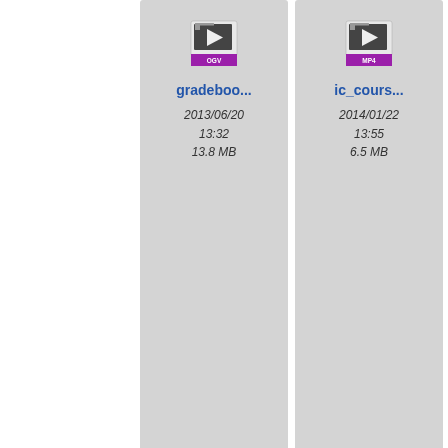[Figure (screenshot): File manager grid view showing video files as thumbnail cards. Row 1: gradeboo... (OGV, 2013/06/20 13:32, 13.8 MB), ic_cours... (MP4, 2014/01/22 13:55, 6.5 MB), ic_... (partially visible). Row 2: ic_stude... (MP4, 2013/12/12 09:45, 3 MB), ic_stude... (WEBM, 2013/12/12 09:45, 3.7 MB), mi... (partially visible). Row 3: partially visible cells at bottom.]